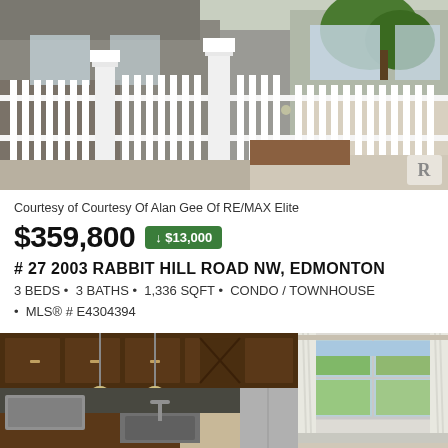[Figure (photo): Exterior photo of townhouse with white picket fence and gate in foreground, brown/grey house visible behind]
Courtesy of Courtesy Of Alan Gee Of RE/MAX Elite
$359,800 ↓ $13,000
# 27 2003 RABBIT HILL ROAD NW, EDMONTON
3 BEDS • 3 BATHS • 1,336 SQFT • CONDO / TOWNHOUSE • MLS® # E4304394
[Figure (photo): Interior photo showing kitchen with dark wood cabinets and stainless steel appliances]
[Figure (photo): Interior photo showing bright room with large windows and white curtains]